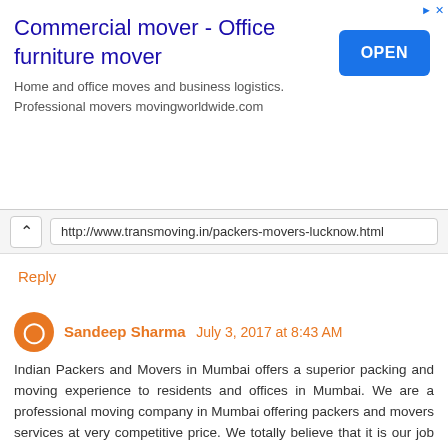[Figure (screenshot): Advertisement banner for commercial mover / office furniture mover with an OPEN button]
http://www.transmoving.in/packers-movers-lucknow.html
Reply
Sandeep Sharma July 3, 2017 at 8:43 AM
Indian Packers and Movers in Mumbai offers a superior packing and moving experience to residents and offices in Mumbai. We are a professional moving company in Mumbai offering packers and movers services at very competitive price. We totally believe that it is our job to take into consideration each customers packers and movers need and tailor make our services as per the situation and requirements. That is why we offer our services day and night, 365 days a year. Indian Packers and Movers in Mumbai is an experienced packers and movers company in Mumbai offering full packing and moving services.